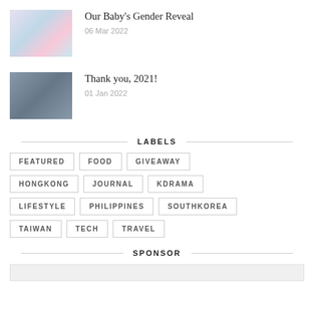[Figure (photo): Thumbnail photo of a couple standing in front of balloon decorations for a gender reveal]
Our Baby's Gender Reveal
06 Mar 2022
[Figure (photo): Thumbnail photo of a couple standing together in front of curtains]
Thank you, 2021!
01 Jan 2022
LABELS
FEATURED
FOOD
GIVEAWAY
HONGKONG
JOURNAL
KDRAMA
LIFESTYLE
PHILIPPINES
SOUTHKOREA
TAIWAN
TECH
TRAVEL
SPONSOR